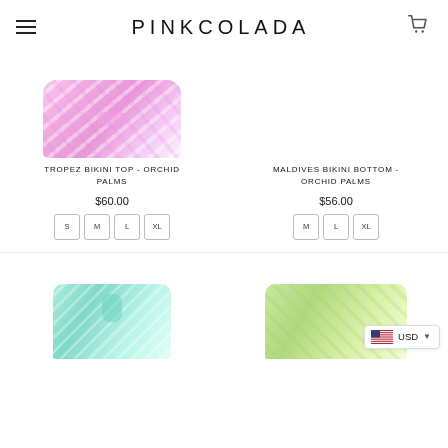PINKCOLADA
[Figure (photo): Tropez Bikini Top in Orchid Palms print - pink and white tropical leaf pattern bandeau bikini top]
TROPEZ BIKINI TOP - ORCHID PALMS
$60.00
S  M  L  XL
[Figure (photo): Maldives Bikini Bottom in Orchid Palms print - right side of page, image area appears empty/white]
MALDIVES BIKINI BOTTOM - ORCHID PALMS
$56.00
M  L  XL
[Figure (photo): Teal/turquoise patterned bikini top - partially visible at bottom left]
[Figure (photo): Green/yellow tropical patterned bikini top - partially visible at bottom right]
USD